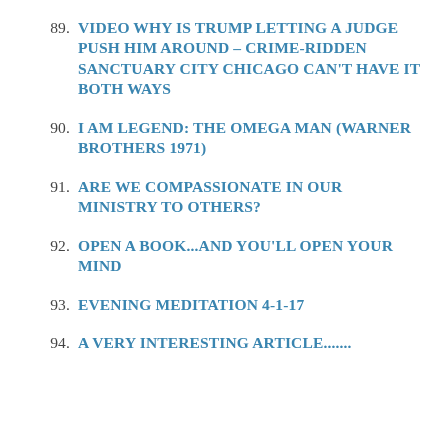89. VIDEO WHY IS TRUMP LETTING A JUDGE PUSH HIM AROUND – CRIME-RIDDEN SANCTUARY CITY CHICAGO CAN'T HAVE IT BOTH WAYS
90. I AM LEGEND: THE OMEGA MAN (WARNER BROTHERS 1971)
91. ARE WE COMPASSIONATE IN OUR MINISTRY TO OTHERS?
92. OPEN A BOOK...AND YOU'LL OPEN YOUR MIND
93. EVENING MEDITATION 4-1-17
94. A VERY INTERESTING ARTICLE.......